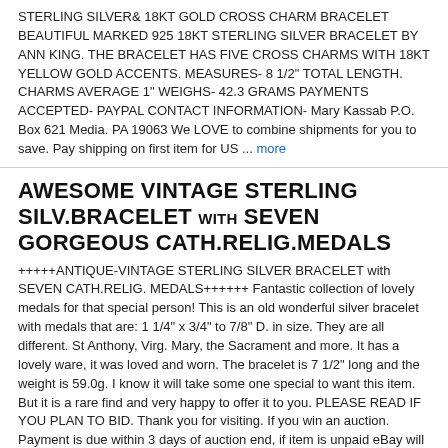STERLING SILVER& 18KT GOLD CROSS CHARM BRACELET BEAUTIFUL MARKED 925 18KT STERLING SILVER BRACELET BY ANN KING. THE BRACELET HAS FIVE CROSS CHARMS WITH 18KT YELLOW GOLD ACCENTS. MEASURES- 8 1/2" TOTAL LENGTH. CHARMS AVERAGE 1" WEIGHS- 42.3 GRAMS PAYMENTS ACCEPTED- PAYPAL CONTACT INFORMATION- Mary Kassab P.O. Box 621 Media. PA 19063 We LOVE to combine shipments for you to save. Pay shipping on first item for US ... more
AWESOME VINTAGE STERLING SILV.BRACELET with SEVEN GORGEOUS CATH.RELIG.MEDALS
+++++ANTIQUE-VINTAGE STERLING SILVER BRACELET with SEVEN CATH.RELIG. MEDALS++++++ Fantastic collection of lovely medals for that special person! This is an old wonderful silver bracelet with medals that are: 1 1/4" x 3/4" to 7/8" D. in size. They are all different. St Anthony, Virg. Mary, the Sacrament and more. It has a lovely ware, it was loved and worn. The bracelet is 7 1/2" long and the weight is 59.0g. I know it will take some one special to want this item. But it is a rare find and very happy to offer it to you. PLEASE READ IF YOU PLAN TO BID. Thank you for visiting. If you win an auction. Payment is due within 3 days of auction end, if item is unpaid eBay will automatically open an"unpaid item case" against buyer on the 4th day. Items will ship a day after payment received. Always ask questions before ... more
VINTAGE TEN COMANDMENTS CHARM BRACELET
VINTAGE TEN COMANDMENTS CHARM BRACELET 61/2 INCHES LONG ITEM IN THE PHOTO IS THE ITEM YOU WILL RECEIVE